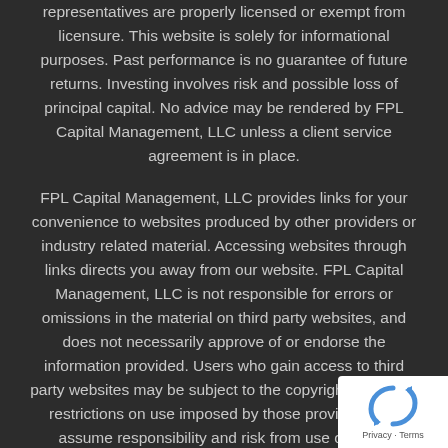representatives are properly licensed or exempt from licensure. This website is solely for informational purposes. Past performance is no guarantee of future returns. Investing involves risk and possible loss of principal capital. No advice may be rendered by FPL Capital Management, LLC unless a client service agreement is in place.
FPL Capital Management, LLC provides links for your convenience to websites produced by other providers or industry related material. Accessing websites through links directs you away from our website. FPL Capital Management, LLC is not responsible for errors or omissions in the material on third party websites, and does not necessarily approve of or endorse the information provided. Users who gain access to third party websites may be subject to the copyright and other restrictions on use imposed by those providers and assume responsibility and risk from use of those websites.